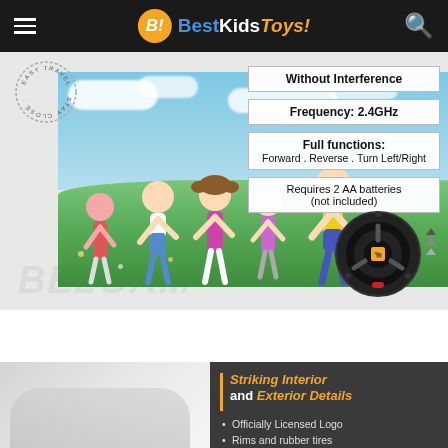B! BestKidsToys!
[Figure (photo): Product advertisement image showing children running in a green field with feature callout boxes: 'Without Interference', 'Frequency: 2.4GHz', 'Full functions: Forward . Reverse . Turn Left/Right', 'Requires 2 AA batteries (not included)'. A Lamborghini-branded steering wheel remote control shown bottom right.]
[Figure (photo): Bottom section showing a partial image of a toy car on the left and dark panel on right with product features text.]
Striking Interior and Exterior Details
Officially Licensed Logo
Rims and rubber tires